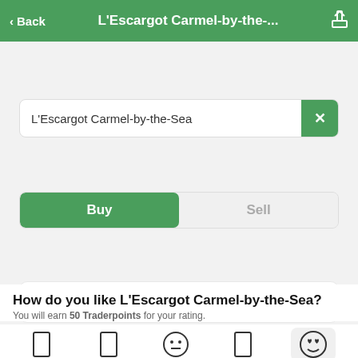< Back   L'Escargot Carmel-by-the-...
L'Escargot Carmel-by-the-Sea
Buy | Sell
0 Replys, 0 comments
Nobu Malibu
5/5 Review by StimulatingBlow43 (07/05/2022 3:43 pm)
Got my reservation and had a wonderful lunch
How do you like L'Escargot Carmel-by-the-Sea?
You will earn 50 Traderpoints for your rating.